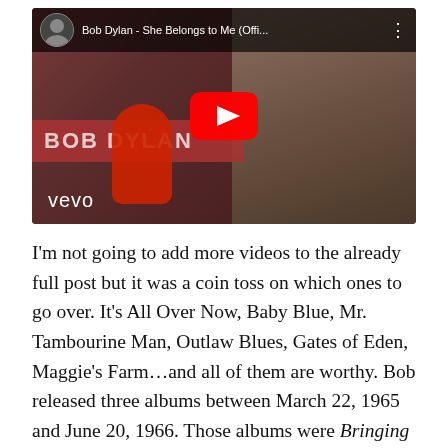[Figure (screenshot): YouTube video thumbnail for Bob Dylan - She Belongs to Me (Official). Shows a YouTube player interface with a play button, the title 'Bob Dylan - She Belongs to Me (Offi...' in the top bar with a circular avatar, a Vevo watermark, and 'BOB DYLAN' text on the left side of the thumbnail. The thumbnail features a person in red clothing and Bob Dylan on the right side.]
I'm not going to add more videos to the already full post but it was a coin toss on which ones to go over. It's All Over Now, Baby Blue, Mr. Tambourine Man, Outlaw Blues, Gates of Eden, Maggie's Farm…and all of them are worthy. Bob released three albums between March 22, 1965 and June 20, 1966. Those albums were Bringing It